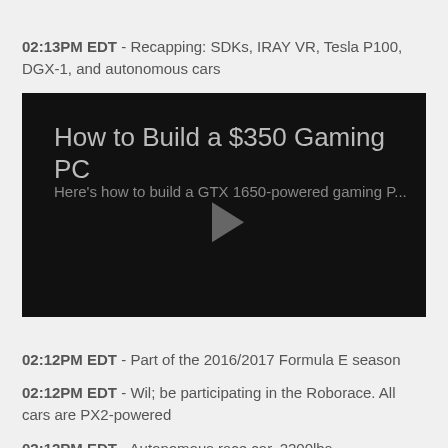02:13PM EDT - Recapping: SDKs, IRAY VR, Tesla P100, DGX-1, and autonomous cars
[Figure (screenshot): Video thumbnail with black background showing title 'How to Build a $350 Gaming PC' and subtitle 'Here's how to build a GTX 1650-powered gaming P...' with a play button in the center]
02:12PM EDT - Part of the 2016/2017 Formula E season
02:12PM EDT - Wil; be participating in the Roborace. All cars are PX2-powered
02:12PM EDT - Autonomous race car, 2200lbs